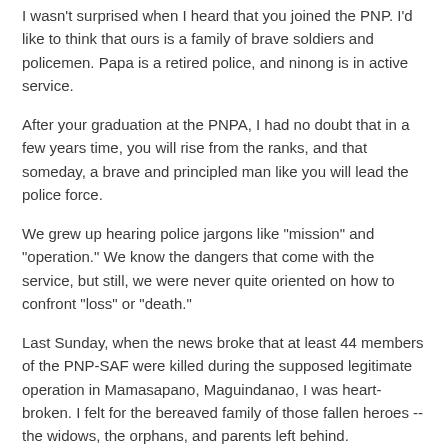I wasn't surprised when I heard that you joined the PNP. I'd like to think that ours is a family of brave soldiers and policemen. Papa is a retired police, and ninong is in active service.
After your graduation at the PNPA, I had no doubt that in a few years time, you will rise from the ranks, and that someday, a brave and principled man like you will lead the police force.
We grew up hearing police jargons like "mission" and "operation." We know the dangers that come with the service, but still, we were never quite oriented on how to confront "loss" or "death."
Last Sunday, when the news broke that at least 44 members of the PNP-SAF were killed during the supposed legitimate operation in Mamasapano, Maguindanao, I was heart-broken. I felt for the bereaved family of those fallen heroes -- the widows, the orphans, and parents left behind.